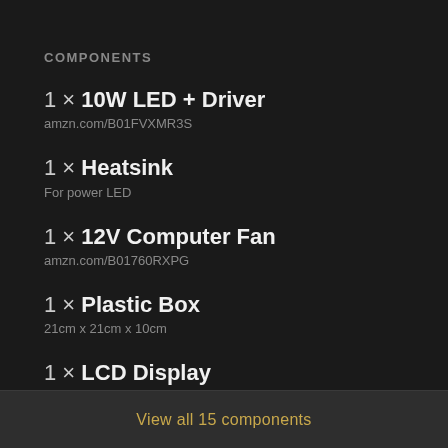COMPONENTS
1 × 10W LED + Driver
amzn.com/B01FVXMR3S
1 × Heatsink
For power LED
1 × 12V Computer Fan
amzn.com/B01760RXPG
1 × Plastic Box
21cm x 21cm x 10cm
1 × LCD Display
3.5" display from parking rearview display amzn.com/B0045IIZKU
View all 15 components